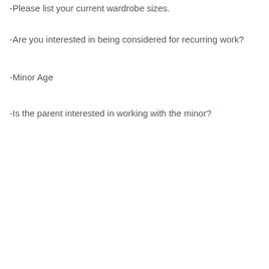-Please list your current wardrobe sizes.
-Are you interested in being considered for recurring work?
-Minor Age
-Is the parent interested in working with the minor?